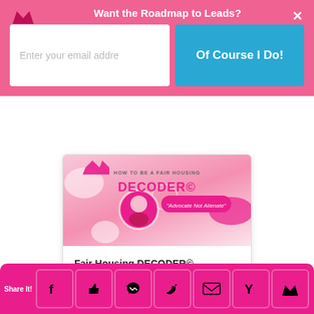Want the Roadmap to Leads?
Enter your email addre
Of Course I Do!
[Figure (illustration): Fair Housing DECODER© course thumbnail with pink background, gears, crown logo, and 'Advocate Not Alienate' tagline]
Fair Housing DECODER© Certificate Course
$ 24.99
explore course
Share It!